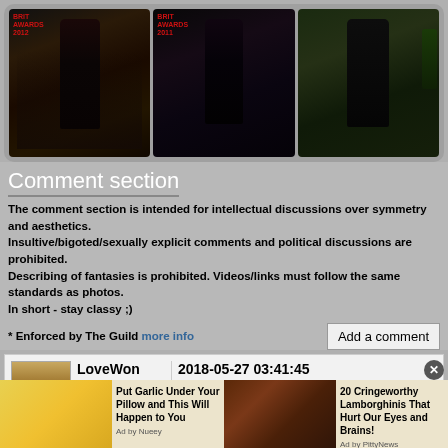[Figure (photo): Three photos of a woman at BRIT Awards and outdoors in black outfit]
Comment section
The comment section is intended for intellectual discussions over symmetry and aesthetics.
Insultive/bigoted/sexually explicit comments and political discussions are prohibited.
Describing of fantasies is prohibited. Videos/links must follow the same standards as photos.
In short - stay classy ;)
* Enforced by The Guild more info
Add a comment
LoveWon  2018-05-27 03:41:45
Member since
great view
[Figure (photo): Advertisement banner: Put Garlic Under Your Pillow and This Will Happen to You - Ad by Nueey]
[Figure (photo): Advertisement banner: 20 Cringeworthy Lamborghinis That Hurt Our Eyes and Brains! - Ad by PittyNews]